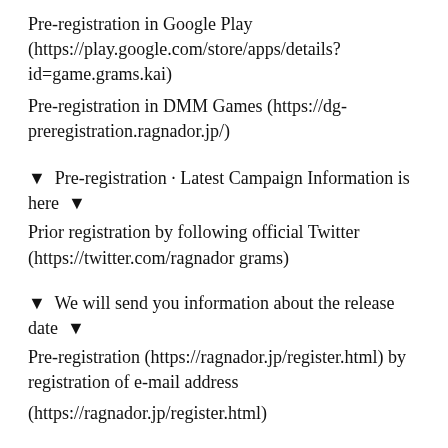Pre-registration in Google Play (https://play.google.com/store/apps/details?id=game.grams.kai)
Pre-registration in DMM Games (https://dg-preregistration.ragnador.jp/)
▼  Pre-registration · Latest Campaign Information is here  ▼
Prior registration by following official Twitter (https://twitter.com/ragnador grams)
▼  We will send you information about the release date  ▼
Pre-registration (https://ragnador.jp/register.html) by registration of e-mail address
(https://ragnador.jp/register.html)